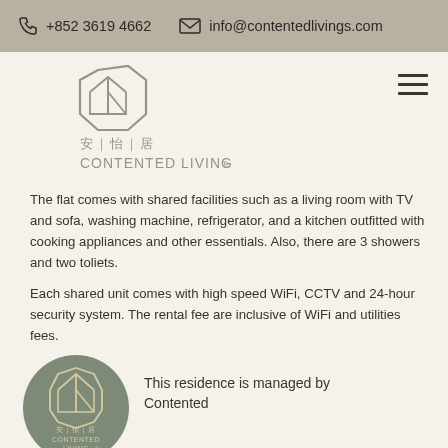+852 3619 4662  info@contentedlivings.com
[Figure (logo): Contented Living logo with hexagonal house shape and Chinese characters 安|怡|居, text CONTENTED LIVING®]
The flat comes with shared facilities such as a living room with TV and sofa, washing machine, refrigerator, and a kitchen outfitted with cooking appliances and other essentials. Also, there are 3 showers and two toliets.
Each shared unit comes with high speed WiFi, CCTV and 24-hour security system. The rental fee are inclusive of WiFi and utilities fees.
[Figure (logo): Circular green-grey badge with Contented Living logo inside]
This residence is managed by Contented Living